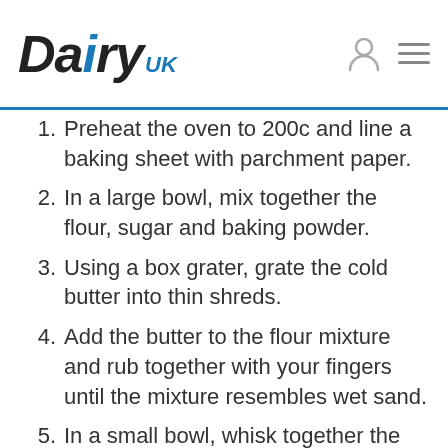Dairy UK
1. Preheat the oven to 200c and line a baking sheet with parchment paper.
2. In a large bowl, mix together the flour, sugar and baking powder.
3. Using a box grater, grate the cold butter into thin shreds.
4. Add the butter to the flour mixture and rub together with your fingers until the mixture resembles wet sand.
5. In a small bowl, whisk together the cream and egg. Add to the flour and butter mixture. Using your hands or a spoon, stir together just until a shaggy ball forms.
6. Add the cheddar cheese to the